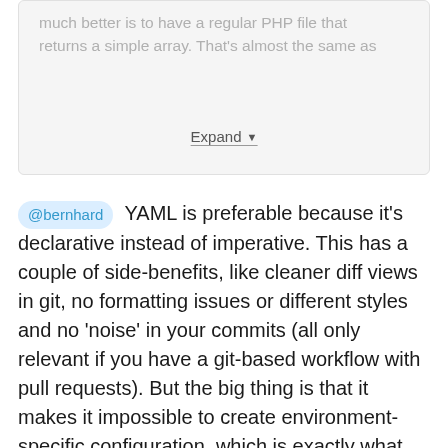much better is to have a regular PHP file that returns a simple array. That's almost the same as
Expand
@bernhard YAML is preferable because it's declarative instead of imperative. This has a couple of side-benefits, like cleaner diff views in git, no formatting issues or different styles and no 'noise' in your commits (all only relevant if you have a git-based workflow with pull requests). But the big thing is that it makes it impossible to create environment-specific configuration, which is exactly what you don't want. If you embrace that the configuration is the source of truth for the entire site state (excluding content), you won't need this anyway. Take your example where you switch a field based on whether the languages module is installed - I would flag this in a PR and consider it an